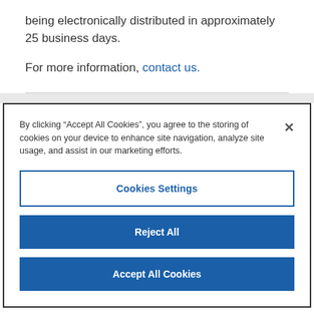being electronically distributed in approximately 25 business days.
For more information, contact us.
By clicking “Accept All Cookies”, you agree to the storing of cookies on your device to enhance site navigation, analyze site usage, and assist in our marketing efforts.
Cookies Settings
Reject All
Accept All Cookies